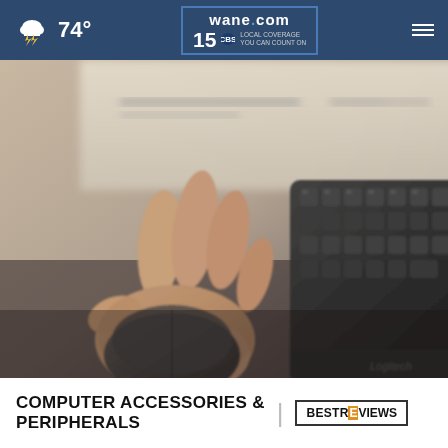wane.com 15 LOCAL COVERAGE YOU CAN COUNT ON | 74°
[Figure (photo): Close-up photo of a hand using a black Logitech computer mouse next to a black keyboard, on a desk with papers in the background. The image is slightly blurred/bokeh style.]
COMPUTER ACCESSORIES & PERIPHERALS
[Figure (logo): BestReviews logo in a rectangular border — text reads BESTREVIEWS with a stylized E in the middle in orange]